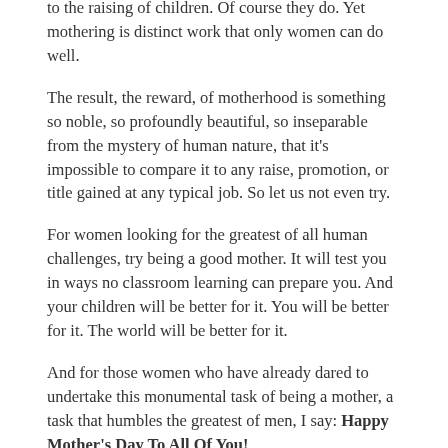to the raising of children. Of course they do. Yet mothering is distinct work that only women can do well.
The result, the reward, of motherhood is something so noble, so profoundly beautiful, so inseparable from the mystery of human nature, that it's impossible to compare it to any raise, promotion, or title gained at any typical job. So let us not even try.
For women looking for the greatest of all human challenges, try being a good mother. It will test you in ways no classroom learning can prepare you. And your children will be better for it. You will be better for it. The world will be better for it.
And for those women who have already dared to undertake this monumental task of being a mother, a task that humbles the greatest of men, I say: Happy Mother's Day To All Of You!